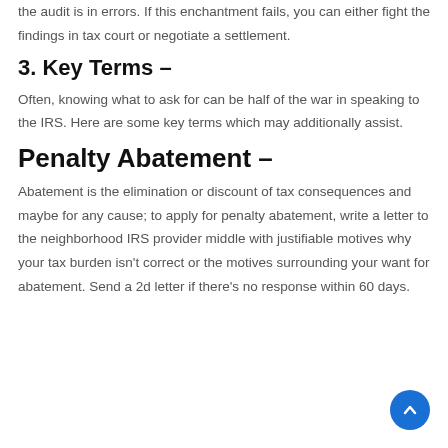the audit is in errors. If this enchantment fails, you can either fight the findings in tax court or negotiate a settlement.
3. Key Terms –
Often, knowing what to ask for can be half of the war in speaking to the IRS. Here are some key terms which may additionally assist.
Penalty Abatement –
Abatement is the elimination or discount of tax consequences and maybe for any cause; to apply for penalty abatement, write a letter to the neighborhood IRS provider middle with justifiable motives why your tax burden isn't correct or the motives surrounding your want for abatement. Send a 2d letter if there's no response within 60 days.